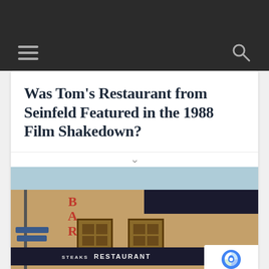Navigation header with hamburger menu and search icon
Was Tom's Restaurant from Seinfeld Featured in the 1988 Film Shakedown?
[Figure (photo): Exterior photo of Tom's Restaurant showing the building facade with BAR sign, windows, and a restaurant sign reading 'STEAKS RESTAURANT' on a dark awning at the bottom. A street pole with signs is visible on the left. A reCAPTCHA badge appears in the bottom right corner.]